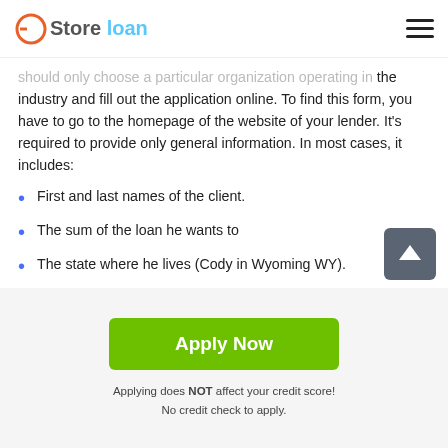Store loan
should only choose a particular organization operating in the industry and fill out the application online. To find this form, you have to go to the homepage of the website of your lender. It's required to provide only general information. In most cases, it includes:
First and last names of the client.
The sum of the loan he wants to
The state where he lives (Cody in Wyoming WY).
After clicking the button, you will have to wait some seconds to go to the form requiring more detailed data.
Apply Now
Applying does NOT affect your credit score!
No credit check to apply.